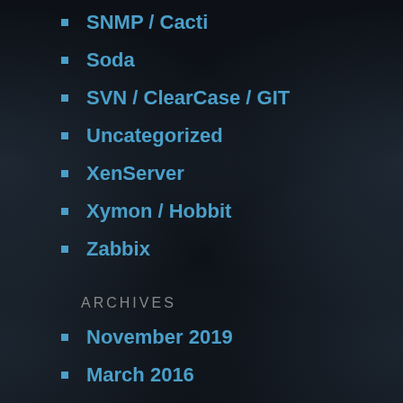SNMP / Cacti
Soda
SVN / ClearCase / GIT
Uncategorized
XenServer
Xymon / Hobbit
Zabbix
ARCHIVES
November 2019
March 2016
September 2015
August 2015
July 2015
June 2015
May 2015
April 2015
March 2015
February 2015
January 2015
December 2014